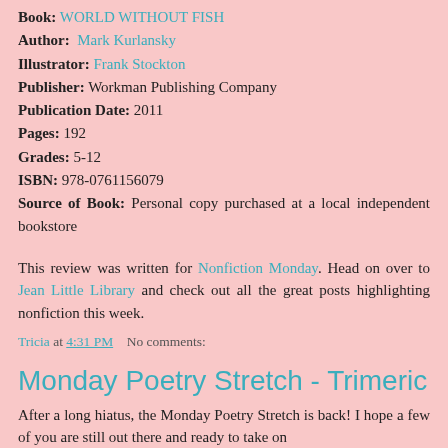Book: WORLD WITHOUT FISH
Author: Mark Kurlansky
Illustrator: Frank Stockton
Publisher: Workman Publishing Company
Publication Date: 2011
Pages: 192
Grades: 5-12
ISBN: 978-0761156079
Source of Book: Personal copy purchased at a local independent bookstore
This review was written for Nonfiction Monday. Head on over to Jean Little Library and check out all the great posts highlighting nonfiction this week.
Tricia at 4:31 PM    No comments:
Monday Poetry Stretch - Trimeric
After a long hiatus, the Monday Poetry Stretch is back! I hope a few of you are still out there and ready to take on